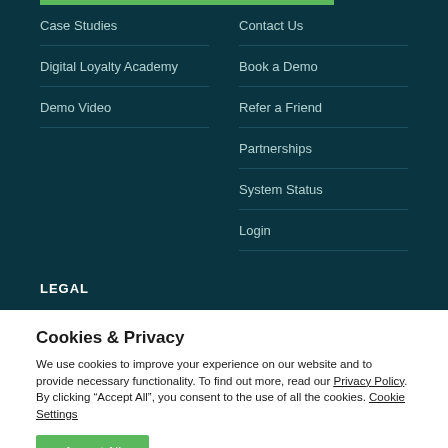Case Studies
Contact Us
Digital Loyalty Academy
Book a Demo
Demo Video
Refer a Friend
Partnerships
System Status
Login
LEGAL
Cookies & Privacy
We use cookies to improve your experience on our website and to provide necessary functionality. To find out more, read our Privacy Policy. By clicking “Accept All”, you consent to the use of all the cookies. Cookie Settings
Accept All